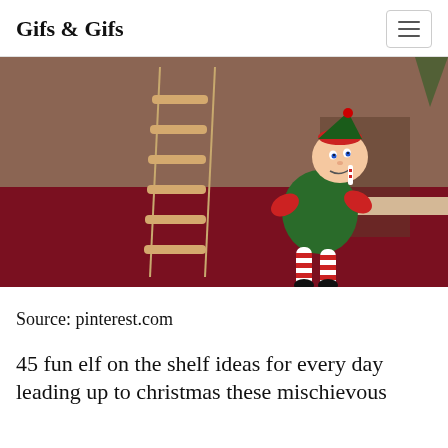Gifs & Gifs
[Figure (photo): An Elf on the Shelf doll wearing a green outfit with red and white striped leggings, sitting on a red surface next to a small wooden rope ladder, eating candy, with a Christmas tree in the background.]
Source: pinterest.com
45 fun elf on the shelf ideas for every day leading up to christmas these mischievous